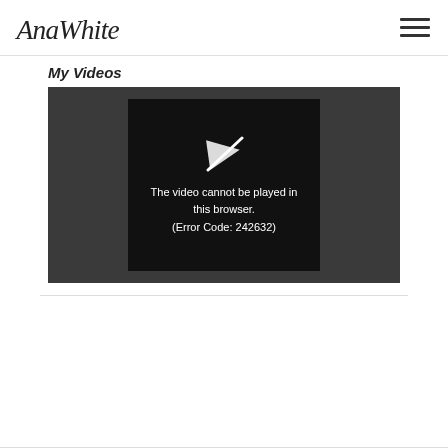AnaWhite [logo] + hamburger menu
My Videos
[Figure (screenshot): Embedded video player showing a dark gray background with a black center panel containing a white arrow/play icon and the error message: The video cannot be played in this browser. (Error Code: 242632)]